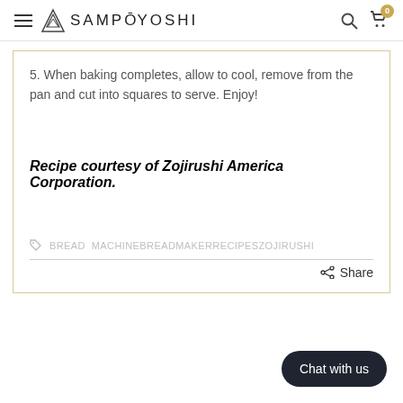SAMPŌYOSHI
5. When baking completes, allow to cool, remove from the pan and cut into squares to serve. Enjoy!
Recipe courtesy of Zojirushi America Corporation.
BREAD  MACHINEBREADMAKERRECIPESZOJIRUSHI
Share
Chat with us